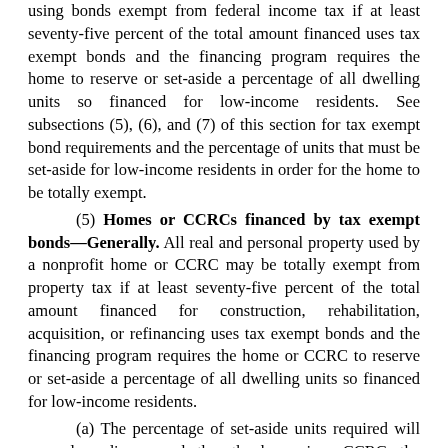using bonds exempt from federal income tax if at least seventy-five percent of the total amount financed uses tax exempt bonds and the financing program requires the home to reserve or set-aside a percentage of all dwelling units so financed for low-income residents. See subsections (5), (6), and (7) of this section for tax exempt bond requirements and the percentage of units that must be set-aside for low-income residents in order for the home to be totally exempt.
(5) Homes or CCRCs financed by tax exempt bonds—Generally. All real and personal property used by a nonprofit home or CCRC may be totally exempt from property tax if at least seventy-five percent of the total amount financed for construction, rehabilitation, acquisition, or refinancing uses tax exempt bonds and the financing program requires the home or CCRC to reserve or set-aside a percentage of all dwelling units so financed for low-income residents.
(a) The percentage of set-aside units required will vary depending on whether the home is a CCRC, the purpose for which the tax exempt bond financing was obtained, the type of dwelling unit, and the receipt